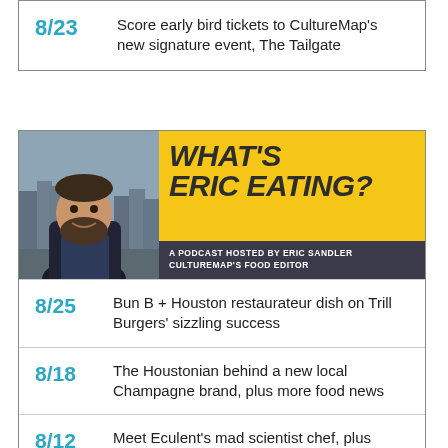8/23 Score early bird tickets to CultureMap's new signature event, The Tailgate
[Figure (photo): Podcast banner for 'What's Eric Eating?' hosted by Eric Sandler, CultureMap's Food Editor. Shows a photo of Eric Sandler on left and yellow title block on right.]
8/25 Bun B + Houston restaurateur dish on Trill Burgers' sizzling success
8/18 The Houstonian behind a new local Champagne brand, plus more food news
8/12 Meet Eculent's mad scientist chef, plus more hot Houston food news